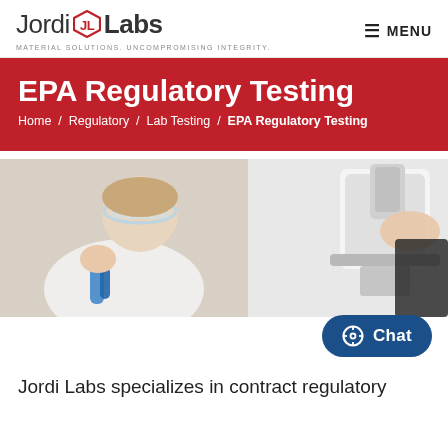Jordi Labs — Material Solutions. Uncompromising Integrity. | MENU
EPA Regulatory Testing
Home / Regulatory / Lab Testing / EPA Regulatory Testing
[Figure (photo): Two-panel laboratory photo: left panel shows a female scientist in white lab coat and safety goggles handling blue-tipped lab instruments; right panel shows someone looking into a microscope.]
Jordi Labs specializes in contract regulatory